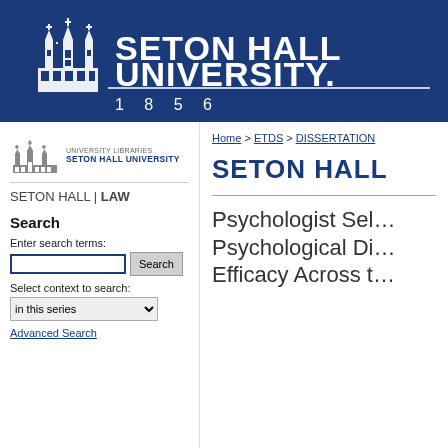[Figure (logo): Seton Hall University logo with castle/church illustration and text 'SETON HALL UNIVERSITY 1856' on dark blue background]
[Figure (logo): University Libraries Seton Hall University logo (gray building icon with text)]
SETON HALL | LAW
Home > ETDS > DISSERTATION
SETON HALL
Search
Enter search terms:
Select context to search:
in this series
Advanced Search
Psychologist Sel… Psychological Di… Efficacy Across t…